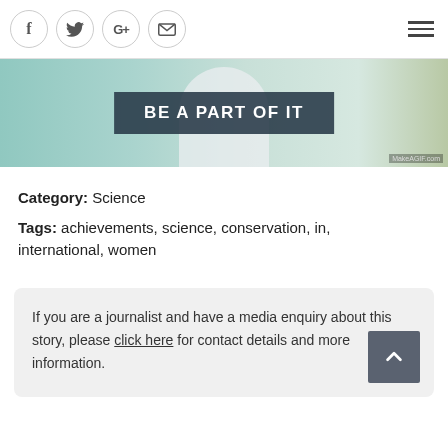Social icons: Facebook, Twitter, Google+, Email; Hamburger menu
[Figure (photo): Hero banner image showing a person in a white lab coat with a dark semi-transparent overlay text reading 'BE A PART OF IT', with watermark 'MakeAGIF.com']
Category: Science
Tags: achievements, science, conservation, in, international, women
If you are a journalist and have a media enquiry about this story, please click here for contact details and more information.